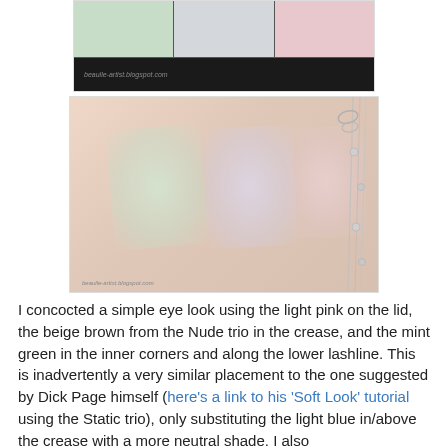[Figure (photo): A black makeup palette showing three eyeshadow pans: a mint green, a silver/white, and a light pink shade, with a dark bottom tray and watermark text.]
[Figure (photo): Swatches of three eyeshadow colors (mint green shimmer, lavender/white shimmer, and light pink) on a fair-skinned wrist/hand, with a silver chain bracelet visible on the right side of the image.]
I concocted a simple eye look using the light pink on the lid, the beige brown from the Nude trio in the crease, and the mint green in the inner corners and along the lower lashline. This is inadvertently a very similar placement to the one suggested by Dick Page himself (here's a link to his 'Soft Look' tutorial using the Static trio), only substituting the light blue in/above the crease with a more neutral shade. I also